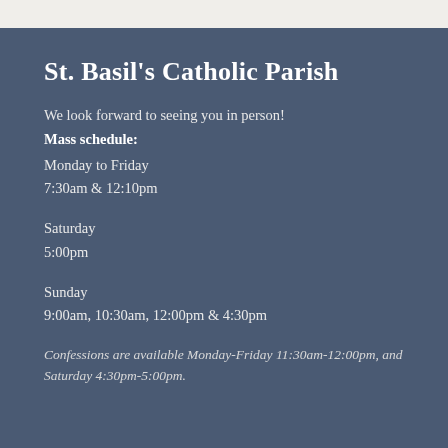St. Basil's Catholic Parish
We look forward to seeing you in person!
Mass schedule:
Monday to Friday
7:30am & 12:10pm
Saturday
5:00pm
Sunday
9:00am, 10:30am, 12:00pm & 4:30pm
Confessions are available Monday-Friday 11:30am-12:00pm, and Saturday 4:30pm-5:00pm.